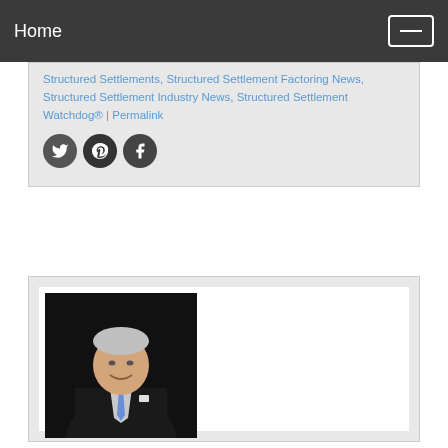Home
Structured Settlements, Structured Settlement Factoring News, Structured Settlement Industry News, Structured Settlement Watchdog® | Permalink
[Figure (photo): Professional headshot of a man in a dark suit with a blue tie, smiling, against a black background]
[Figure (photo): Social media share icons: Twitter, Pinterest, Facebook]